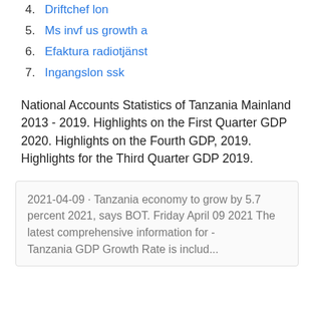4. Driftchef lon
5. Ms invf us growth a
6. Efaktura radiotjänst
7. Ingangslon ssk
National Accounts Statistics of Tanzania Mainland 2013 - 2019. Highlights on the First Quarter GDP 2020. Highlights on the Fourth GDP, 2019. Highlights for the Third Quarter GDP 2019.
2021-04-09 · Tanzania economy to grow by 5.7 percent 2021, says BOT. Friday April 09 2021 The latest comprehensive information for - Tanzania GDP Growth Rate is available...